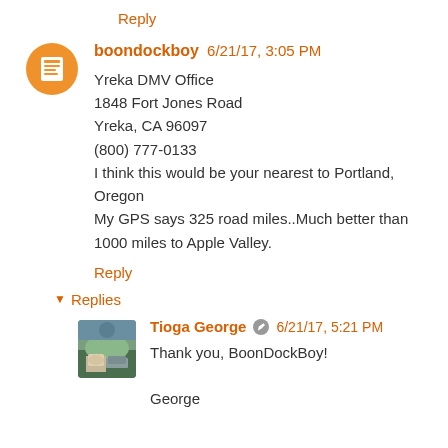Reply
boondockboy 6/21/17, 3:05 PM
Yreka DMV Office
1848 Fort Jones Road
Yreka, CA 96097
(800) 777-0133
I think this would be your nearest to Portland, Oregon
My GPS says 325 road miles..Much better than 1000 miles to Apple Valley.
Reply
▾ Replies
Tioga George 6/21/17, 5:21 PM
Thank you, BoonDockBoy!

George